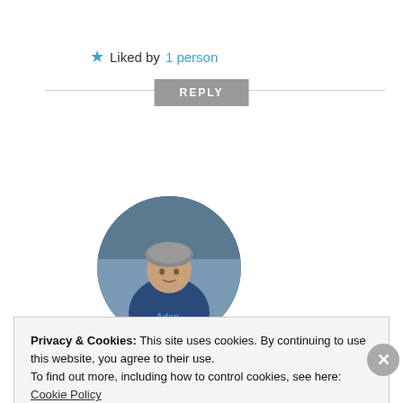★ Liked by 1 person
REPLY
[Figure (photo): Circular avatar photo of a person wearing a bicycle helmet, outdoors near water, with text 'Adan' visible on shirt.]
The Old American Artist Twitter Excerpt Series, Number III.19.1 – © Felipe
Privacy & Cookies: This site uses cookies. By continuing to use this website, you agree to their use.
To find out more, including how to control cookies, see here:
Cookie Policy
Close and accept